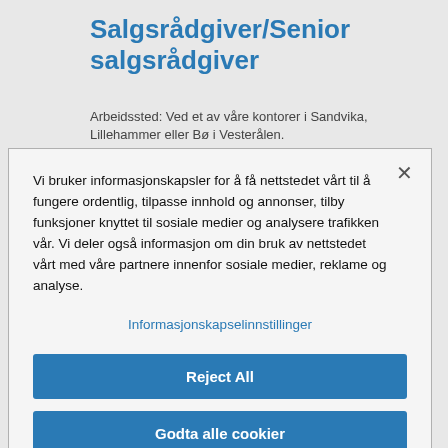Salgsrådgiver/Senior salgsrådgiver
Arbeidssted: Ved et av våre kontorer i Sandvika, Lillehammer eller Bø i Vesterålen.
Vi bruker informasjonskapsler for å få nettstedet vårt til å fungere ordentlig, tilpasse innhold og annonser, tilby funksjoner knyttet til sosiale medier og analysere trafikken vår. Vi deler også informasjon om din bruk av nettstedet vårt med våre partnere innenfor sosiale medier, reklame og analyse.
Informasjonskapselinnstillinger
Reject All
Godta alle cookier